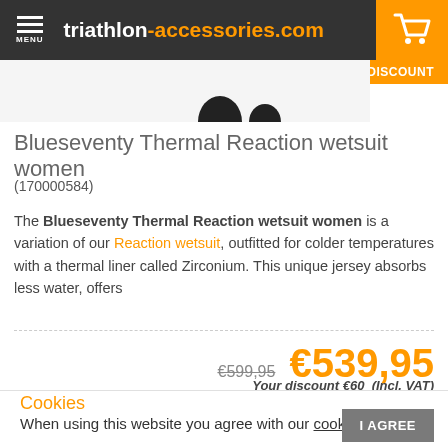triathlon-accessories.com
[Figure (screenshot): Orange cart icon on orange background, top-right corner of header]
10% DISCOUNT
Blueseventy Thermal Reaction wetsuit women
(170000584)
The Blueseventy Thermal Reaction wetsuit women is a variation of our Reaction wetsuit, outfitted for colder temperatures with a thermal liner called Zirconium. This unique jersey absorbs less water, offers
€599,95  €539,95
Your discount €60 (Incl. VAT)
Cookies
When using this website you agree with our cookies.